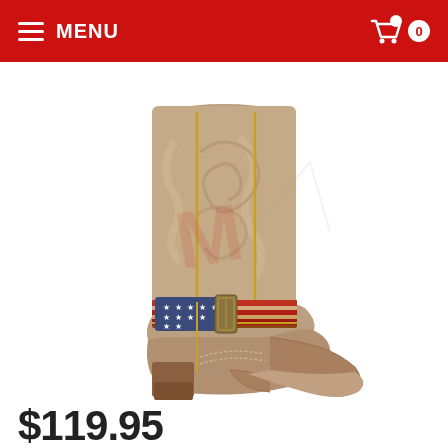MENU  0
[Figure (photo): A tan/brown leather cowboy boot with decorative stitching and an American flag-themed buckle strap around the ankle. The boot features intricate swirl embroidery on the shaft and a stacked heel.]
$119.95